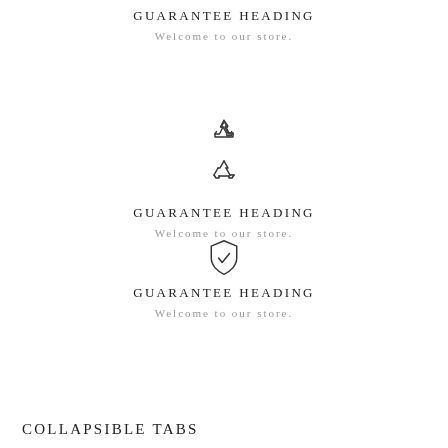GUARANTEE HEADING
Welcome to our store.
[Figure (illustration): Recycling arrows icon (three arrows in a triangle loop)]
GUARANTEE HEADING
Welcome to our store.
[Figure (illustration): Shield with checkmark icon]
GUARANTEE HEADING
Welcome to our store.
COLLAPSIBLE TABS